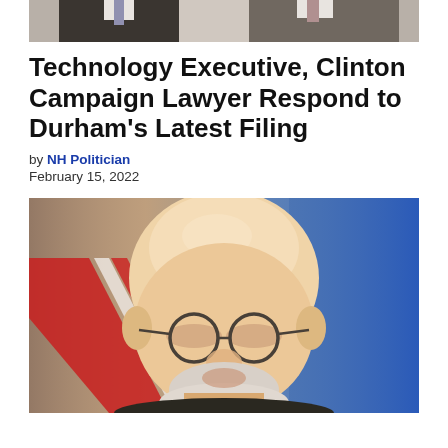[Figure (photo): Cropped photo of two men in suits at the top of the page]
Technology Executive, Clinton Campaign Lawyer Respond to Durham's Latest Filing
by NH Politician
February 15, 2022
[Figure (photo): Portrait photo of John Durham, a bald older man with white beard and glasses, in front of an American flag and blue background]